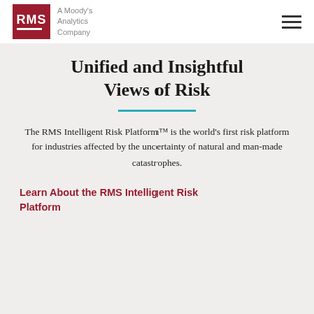RMS — A Moody's Analytics Company
Unified and Insightful Views of Risk
The RMS Intelligent Risk Platform™ is the world's first risk platform for industries affected by the uncertainty of natural and man-made catastrophes.
Learn About the RMS Intelligent Risk Platform